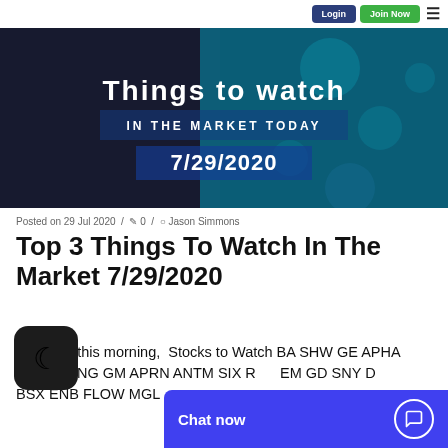Login | Join Now
[Figure (photo): Dark background hero banner with text 'Things to watch IN THE MARKET TODAY 7/29/2020' in white bold font over a blue/teal bokeh background]
Posted on 29 Jul 2020 / 0 / Jason Simmons
Top 3 Things To Watch In The Market 7/29/2020
Earnings this morning,  Stocks to Watch BA SHW GE APHA SPOT WING GM APRN ANTM SIX RTX EM GD SNY D... BSX ENB FLOW MGL...